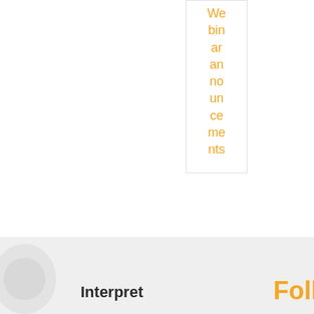Webinar announcements
Interpret
Follow